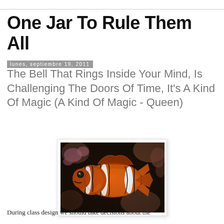One Jar To Rule Them All
lunes, septiembre 19, 2011
The Bell That Rings Inside Your Mind, Is Challenging The Doors Of Time, It's A Kind Of Magic (A Kind Of Magic - Queen)
[Figure (photo): A clownfish (orange with white stripes) photographed against a blurred coral reef background]
During class design we should take decisions about the